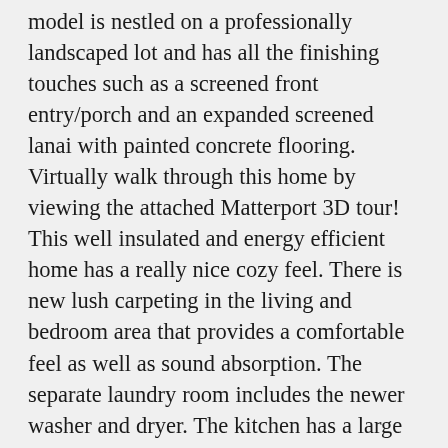model is nestled on a professionally landscaped lot and has all the finishing touches such as a screened front entry/porch and an expanded screened lanai with painted concrete flooring. Virtually walk through this home by viewing the attached Matterport 3D tour! This well insulated and energy efficient home has a really nice cozy feel. There is new lush carpeting in the living and bedroom area that provides a comfortable feel as well as sound absorption. The separate laundry room includes the newer washer and dryer. The kitchen has a large center island, 42″ cabinets, large walk-in pantry, upgraded pendant lighting and all appliances are included. The Great Room has a large tray ceiling with upgraded recessed lighting and looks out onto beautiful trees. The Master Suite also has a large tray ceiling, large walk-in closet and beautiful shower, dual sinks on a spacious vanity. There's so